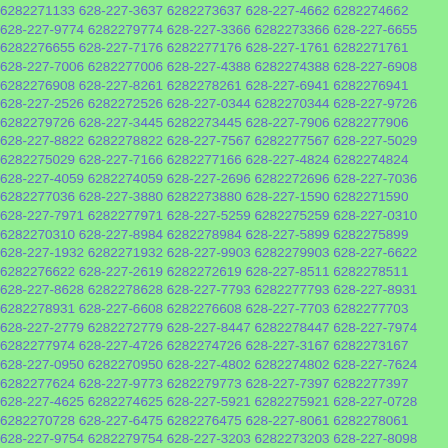6282271133 628-227-3637 6282273637 628-227-4662 6282274662 628-227-9774 6282279774 628-227-3366 6282273366 628-227-6655 6282276655 628-227-7176 6282277176 628-227-1761 6282271761 628-227-7006 6282277006 628-227-4388 6282274388 628-227-6908 6282276908 628-227-8261 6282278261 628-227-6941 6282276941 628-227-2526 6282272526 628-227-0344 6282270344 628-227-9726 6282279726 628-227-3445 6282273445 628-227-7906 6282277906 628-227-8822 6282278822 628-227-7567 6282277567 628-227-5029 6282275029 628-227-7166 6282277166 628-227-4824 6282274824 628-227-4059 6282274059 628-227-2696 6282272696 628-227-7036 6282277036 628-227-3880 6282273880 628-227-1590 6282271590 628-227-7971 6282277971 628-227-5259 6282275259 628-227-0310 6282270310 628-227-8984 6282278984 628-227-5899 6282275899 628-227-1932 6282271932 628-227-9903 6282279903 628-227-6622 6282276622 628-227-2619 6282272619 628-227-8511 6282278511 628-227-8628 6282278628 628-227-7793 6282277793 628-227-8931 6282278931 628-227-6608 6282276608 628-227-7703 6282277703 628-227-2779 6282272779 628-227-8447 6282278447 628-227-7974 6282277974 628-227-4726 6282274726 628-227-3167 6282273167 628-227-0950 6282270950 628-227-4802 6282274802 628-227-7624 6282277624 628-227-9773 6282279773 628-227-7397 6282277397 628-227-4625 6282274625 628-227-5921 6282275921 628-227-0728 6282270728 628-227-6475 6282276475 628-227-8061 6282278061 628-227-9754 6282279754 628-227-3203 6282273203 628-227-8098 6282278098 628-227-7498 6282277498 628-227-3061 6282273061 628-227-7628 6282277628 628-227-1522 6282271522 628-